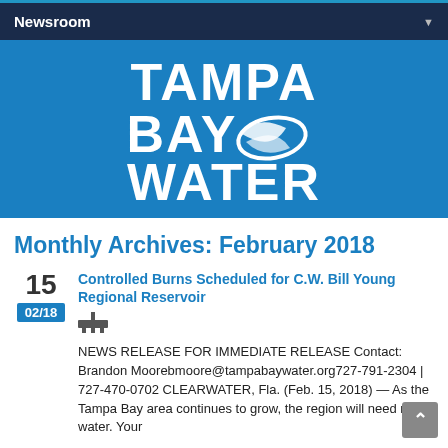Newsroom
[Figure (logo): Tampa Bay Water logo on blue background — large white bold text reading TAMPA BAY WATER with a wave/leaf graphic beside BAY]
Monthly Archives: February 2018
15 02/18 Controlled Burns Scheduled for C.W. Bill Young Regional Reservoir
NEWS RELEASE FOR IMMEDIATE RELEASE Contact: Brandon Moorebmoore@tampabaywater.org727-791-2304 | 727-470-0702 CLEARWATER, Fla. (Feb. 15, 2018) — As the Tampa Bay area continues to grow, the region will need more water. Your